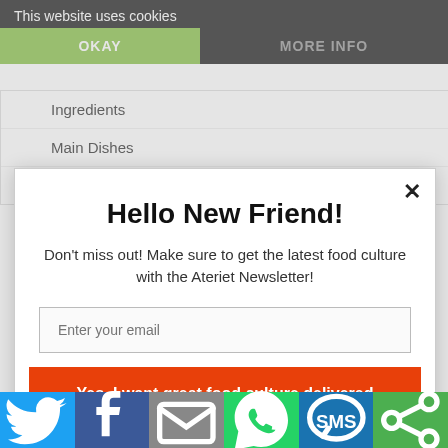This website uses cookies
OKAY
MORE INFO
Ingredients
Main Dishes
Packaging
Hello New Friend!
Don't miss out! Make sure to get the latest food culture with the Ateriet Newsletter!
Enter your email
Yes, I want great food culture delivered